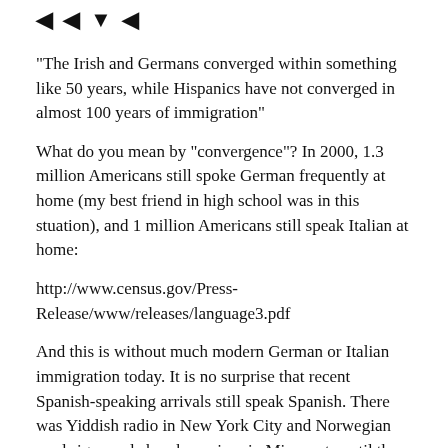◄ ◄ ▼ ◄
"The Irish and Germans converged within something like 50 years, while Hispanics have not converged in almost 100 years of immigration"
What do you mean by "convergence"? In 2000, 1.3 million Americans still spoke German frequently at home (my best friend in high school was in this stuation), and 1 million Americans still speak Italian at home:
http://www.census.gov/Press-Release/www/releases/language3.pdf
And this is without much modern German or Italian immigration today. It is no surprise that recent Spanish-speaking arrivals still speak Spanish. There was Yiddish radio in New York City and Norwegian road signs and church services in Minnesota until the 1940's, a hundred years after those immigration waves began.
Even today, you can attend a Norwegian Chistmas service service